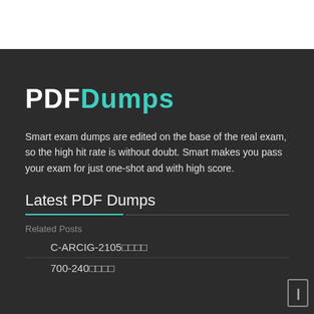[Figure (logo): PDFDumps logo with PDF in white bold and Dumps in teal bold]
Smart exam dumps are edited on the base of the real exam, so the high hit rate is without doubt. Smart makes you pass your exam for just one-shot and with high score.
Latest PDF Dumps
Related Posts
C-ARCIG-2105□□□□
700-240□□□□